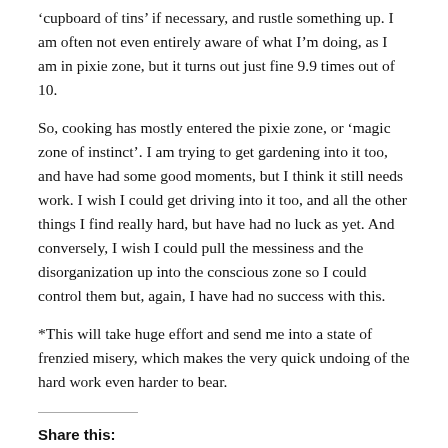‘cupboard of tins’ if necessary, and rustle something up. I am often not even entirely aware of what I’m doing, as I am in pixie zone, but it turns out just fine 9.9 times out of 10.
So, cooking has mostly entered the pixie zone, or ‘magic zone of instinct’. I am trying to get gardening into it too, and have had some good moments, but I think it still needs work. I wish I could get driving into it too, and all the other things I find really hard, but have had no luck as yet. And conversely, I wish I could pull the messiness and the disorganization up into the conscious zone so I could control them but, again, I have had no success with this.
*This will take huge effort and send me into a state of frenzied misery, which makes the very quick undoing of the hard work even harder to bear.
Share this: